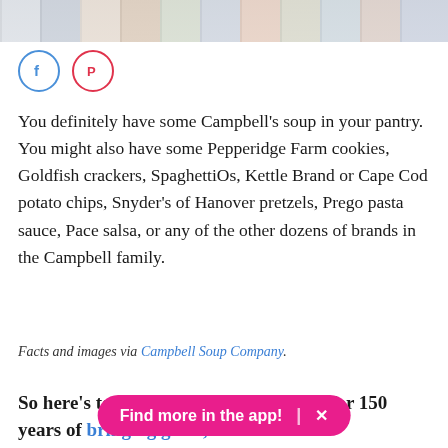[Figure (photo): Partial image strip at top of page showing various food product images, partially visible]
[Figure (other): Social media icons: Facebook (blue circle outline) and Pinterest (red circle outline)]
You definitely have some Campbell's soup in your pantry. You might also have some Pepperidge Farm cookies, Goldfish crackers, SpaghettiOs, Kettle Brand or Cape Cod potato chips, Snyder's of Hanover pretzels, Prego pasta sauce, Pace salsa, or any of the other dozens of brands in the Campbell family.
Facts and images via Campbell Soup Company.
So here's to Campbell Soup Company for 150 years of bringing great, affordable food to American families.
[Figure (other): Pink app promotional banner reading 'Find more in the app!' with a close (X) button]